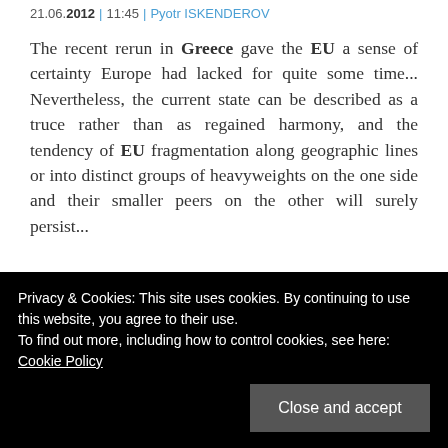21.06.2012 | 11:45 | Pyotr ISKENDEROV
The recent rerun in Greece gave the EU a sense of certainty Europe had lacked for quite some time... Nevertheless, the current state can be described as a truce rather than as regained harmony, and the tendency of EU fragmentation along geographic lines or into distinct groups of heavyweights on the one side and their smaller peers on the other will surely persist...
more
THE MORTAL COMBAT IN THE LAND OF
Privacy & Cookies: This site uses cookies. By continuing to use this website, you agree to their use.
To find out more, including how to control cookies, see here: Cookie Policy
Close and accept
protracted wide-scale war in the times of world